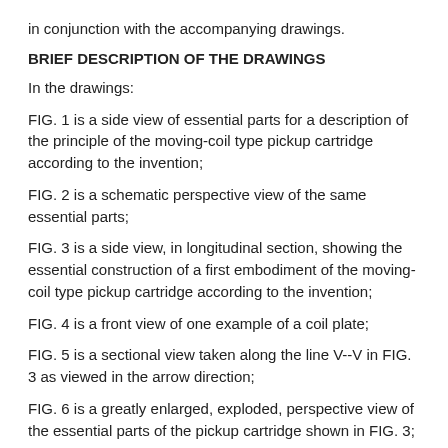in conjunction with the accompanying drawings.
BRIEF DESCRIPTION OF THE DRAWINGS
In the drawings:
FIG. 1 is a side view of essential parts for a description of the principle of the moving-coil type pickup cartridge according to the invention;
FIG. 2 is a schematic perspective view of the same essential parts;
FIG. 3 is a side view, in longitudinal section, showing the essential construction of a first embodiment of the moving-coil type pickup cartridge according to the invention;
FIG. 4 is a front view of one example of a coil plate;
FIG. 5 is a sectional view taken along the line V--V in FIG. 3 as viewed in the arrow direction;
FIG. 6 is a greatly enlarged, exploded, perspective view of the essential parts of the pickup cartridge shown in FIG. 3;